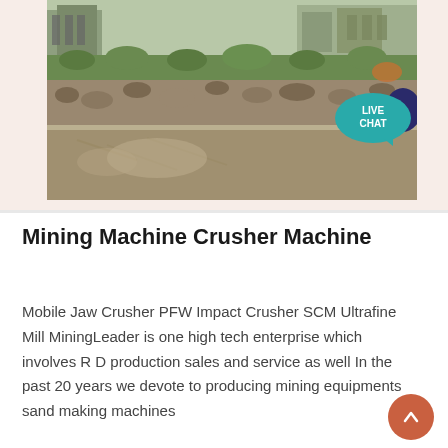[Figure (photo): Outdoor construction/mining site photo showing rocky terrain, dirt road, rubble piles, green vegetation patches, and buildings/scaffolding in the background. A 'LIVE CHAT' speech bubble overlay is visible at the top right.]
Mining Machine Crusher Machine
Mobile Jaw Crusher PFW Impact Crusher SCM Ultrafine Mill MiningLeader is one high tech enterprise which involves R D production sales and service as well In the past 20 years we devote to producing mining equipments sand making machines